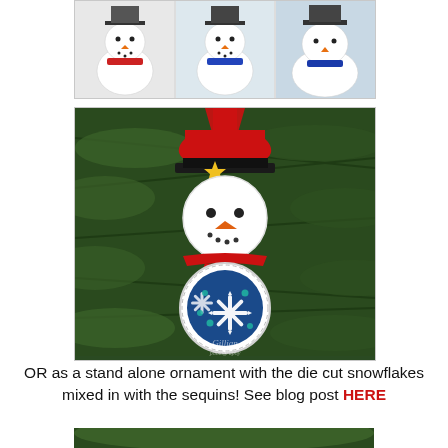[Figure (photo): Three small snowman plush ornaments side by side — one with red scarf, one with blue scarf, one with blue scarf — on white background, inside a thin border frame.]
[Figure (photo): Handmade snowman shaker ornament hanging on a Christmas tree. Snowman has a black top hat with red ribbon and gold star, white circular face with black button eyes and orange carrot nose, red scarf, and a circular shaker body with blue background containing white die-cut snowflakes and teal sequins. Watermark reads 'Gillian' at bottom center.]
OR as a stand alone ornament with the die cut snowflakes mixed in with the sequins! See blog post HERE
[Figure (photo): Partial view of a Christmas tree with green pine branches, bottom edge of page.]